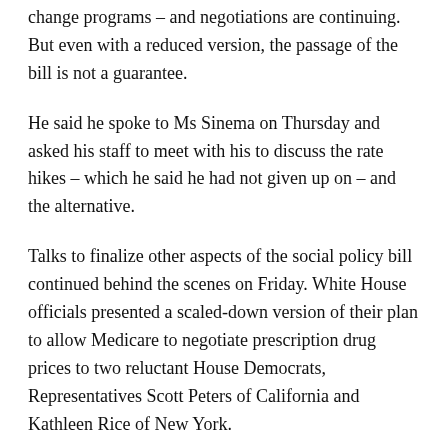change programs – and negotiations are continuing. But even with a reduced version, the passage of the bill is not a guarantee.
He said he spoke to Ms Sinema on Thursday and asked his staff to meet with his to discuss the rate hikes – which he said he had not given up on – and the alternative.
Talks to finalize other aspects of the social policy bill continued behind the scenes on Friday. White House officials presented a scaled-down version of their plan to allow Medicare to negotiate prescription drug prices to two reluctant House Democrats, Representatives Scott Peters of California and Kathleen Rice of New York.
The two members were not happy with the proposal, which would be limited to a narrow set of drugs and be phased in, but they did not reject it out of hand, according to two people familiar with the private interviews who described them. on condition of